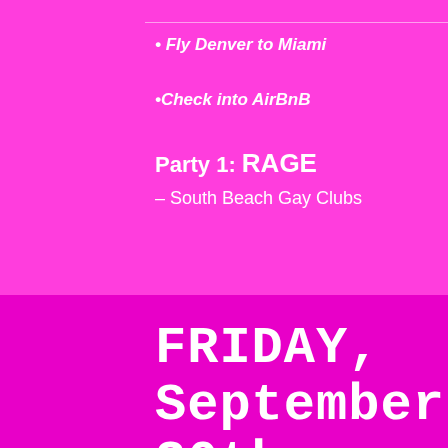• Fly Denver to Miami
•Check into AirBnB
Party 1: RAGE – South Beach Gay Clubs
FRIDAY, September 30th